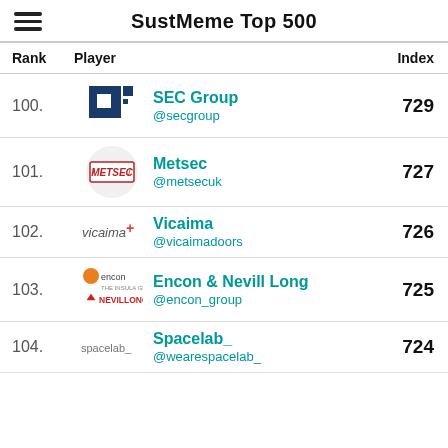SustMeme Top 500
| Rank | Player |  | Index |
| --- | --- | --- | --- |
| 100. | [SEC Group logo] | SEC Group @secgroup | 729 |
| 101. | [Metsec logo] | Metsec @metsecuk | 727 |
| 102. | [Vicaima logo] | Vicaima @vicaimadoors | 726 |
| 103. | [Encon & Nevill Long logo] | Encon & Nevill Long @encon_group | 725 |
| 104. | [Spacelab_ logo] | Spacelab_ @wearespacelab_ | 724 |